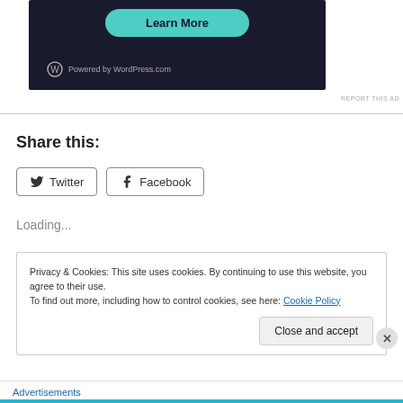[Figure (screenshot): WordPress.com advertisement banner with dark background, teal 'Learn More' button, and 'Powered by WordPress.com' logo text]
REPORT THIS AD
Share this:
Twitter  Facebook
Loading...
Privacy & Cookies: This site uses cookies. By continuing to use this website, you agree to their use.
To find out more, including how to control cookies, see here: Cookie Policy
Close and accept
Advertisements